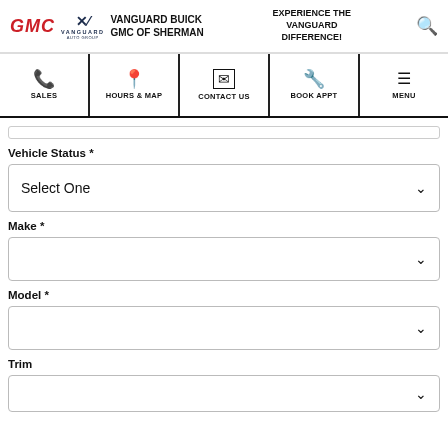GMC | VANGUARD | VANGUARD BUICK GMC OF SHERMAN | EXPERIENCE THE VANGUARD DIFFERENCE!
[Figure (screenshot): Navigation bar with icons for SALES, HOURS & MAP, CONTACT US, BOOK APPT, MENU]
Vehicle Status *
Select One
Make *
Model *
Trim